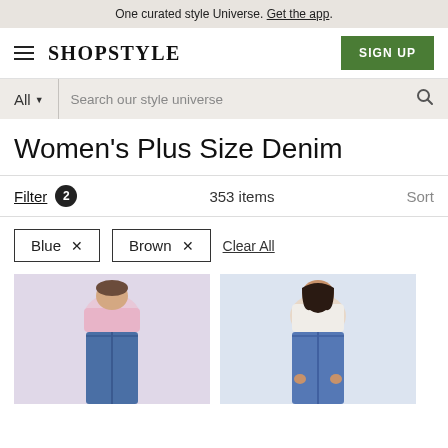One curated style Universe. Get the app.
SHOPSTYLE
SIGN UP
All  Search our style universe
Women's Plus Size Denim
Filter 2   353 items   Sort
Blue ×   Brown ×   Clear All
[Figure (photo): Two product photos showing women modeling plus size denim jeans. Left: model in pink crop top with blue high-waist jeans. Right: model in white tied top with blue high-waist jeans.]